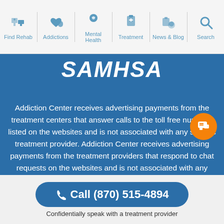Find Rehab | Addictions | Mental Health | Treatment | News & Blog | Search
[Figure (logo): SAMHSA logo text in white italic bold on blue background]
Addiction Center receives advertising payments from the treatment centers that answer calls to the toll free numbers listed on the websites and is not associated with any specific treatment provider. Addiction Center receives advertising payments from the treatment providers that respond to chat requests on the websites and is not associated with any specific treatment provider. Addiction Center is not a medical provider or
Call (870) 515-4894
Confidentially speak with a treatment provider